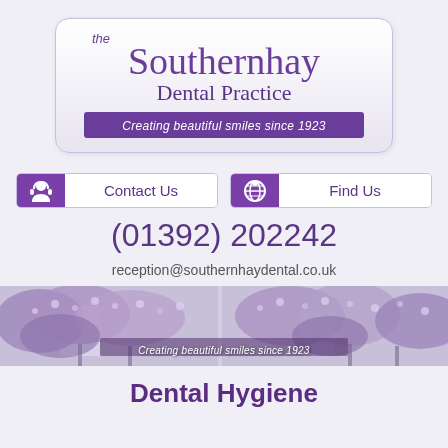[Figure (logo): The Southernhay Dental Practice logo — purple serif text on gradient white/lavender rounded rectangle with purple tagline bar reading 'Creating beautiful smiles since 1923']
[Figure (infographic): Two buttons side by side: 'Contact Us' with headset icon and 'Find Us' with globe/location icon, both purple and white]
(01392) 202242
reception@southernhaydental.co.uk
[Figure (photo): Wide panoramic photo strip of purple blossoming trees (jacaranda or wisteria) with overlay text 'Creating beautiful smiles since 1923']
Dental Hygiene